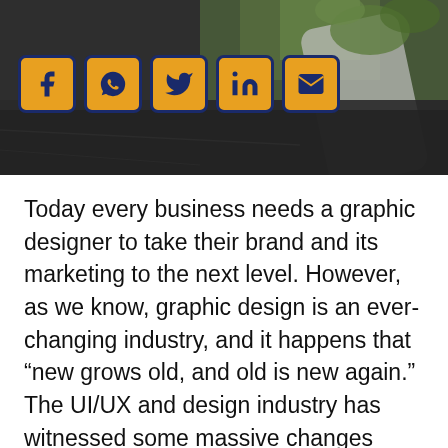[Figure (photo): Hero image of a smartphone lying on asphalt with green moss/plants growing out of it, with social media share icons (Facebook, WhatsApp, Twitter, LinkedIn, Email) overlaid in gold/navy style at the top left]
Today every business needs a graphic designer to take their brand and its marketing to the next level. However, as we know, graphic design is an ever-changing industry, and it happens that “new grows old, and old is new again.” The UI/UX and design industry has witnessed some massive changes which reshaped the business aspects of design.
So let’s look and see the latest trends in the